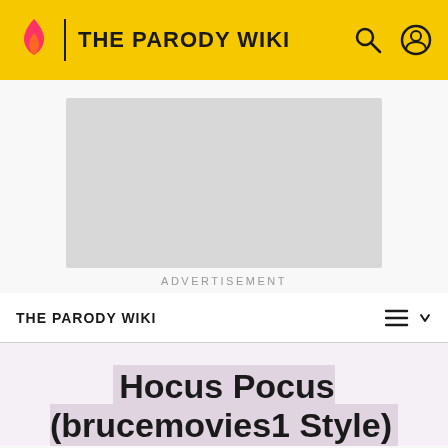THE PARODY WIKI
[Figure (other): Advertisement placeholder box]
ADVERTISEMENT
THE PARODY WIKI
Hocus Pocus (brucemovies1 Style)